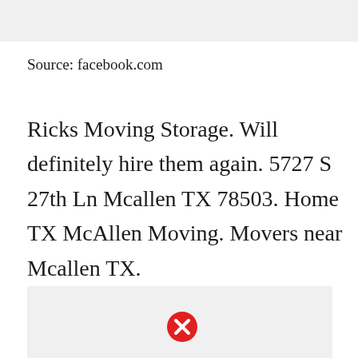[Figure (screenshot): Gray bar at top of page, partial screenshot of a webpage]
Source: facebook.com
Ricks Moving Storage. Will definitely hire them again. 5727 S 27th Ln Mcallen TX 78503. Home TX McAllen Moving. Movers near Mcallen TX.
[Figure (screenshot): Gray box at bottom with a red X close button icon, partial map or image placeholder]